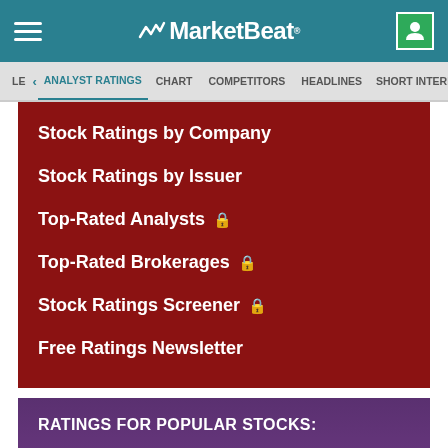MarketBeat
ANALYST RATINGS
CHART
COMPETITORS
HEADLINES
SHORT INTEREST
Stock Ratings by Company
Stock Ratings by Issuer
Top-Rated Analysts 🔒
Top-Rated Brokerages 🔒
Stock Ratings Screener 🔒
Free Ratings Newsletter
RATINGS FOR POPULAR STOCKS:
Alphabet (Google)
Amazon
Apple